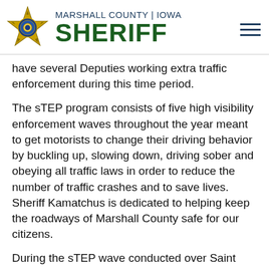MARSHALL COUNTY | IOWA SHERIFF
have several Deputies working extra traffic enforcement during this time period.
The sTEP program consists of five high visibility enforcement waves throughout the year meant to get motorists to change their driving behavior by buckling up, slowing down, driving sober and obeying all traffic laws in order to reduce the number of traffic crashes and to save lives. Sheriff Kamatchus is dedicated to helping keep the roadways of Marshall County safe for our citizens.
During the sTEP wave conducted over Saint Patrick's weekend last year, there were 16,279 traffic violations reported by 234 law enforcement agencies that had more than 1,600 officers working the